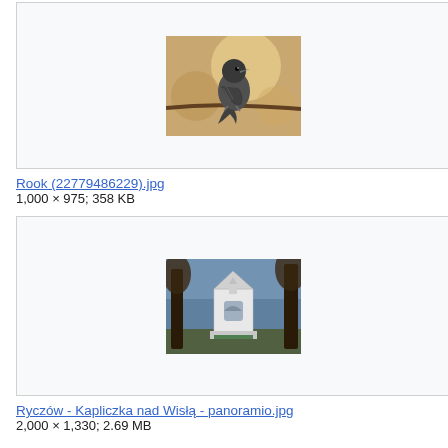[Figure (photo): A rook (crow-like bird) perched on a branch, photographed against a warm bokeh background]
Rook (22779486229).jpg
1,000 × 975; 358 KB
[Figure (photo): A roadside chapel (kapliczka) near Wisła in Ryczów, surrounded by trees]
Ryczów - Kapliczka nad Wisłą - panoramio.jpg
2,000 × 1,330; 2.69 MB